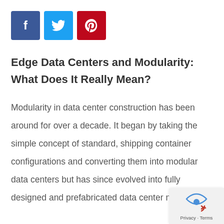[Figure (logo): Social media share buttons: Facebook (blue), Twitter (light blue), Pinterest (red)]
Edge Data Centers and Modularity: What Does It Really Mean?
Modularity in data center construction has been around for over a decade. It began by taking the simple concept of standard, shipping container configurations and converting them into modular data centers but has since evolved into fully designed and prefabricated data center module